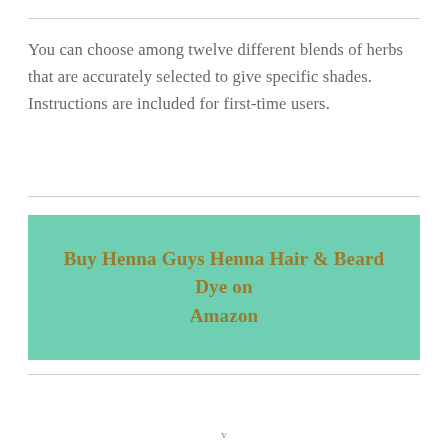You can choose among twelve different blends of herbs that are accurately selected to give specific shades. Instructions are included for first-time users.
Buy Henna Guys Henna Hair & Beard Dye on Amazon
v